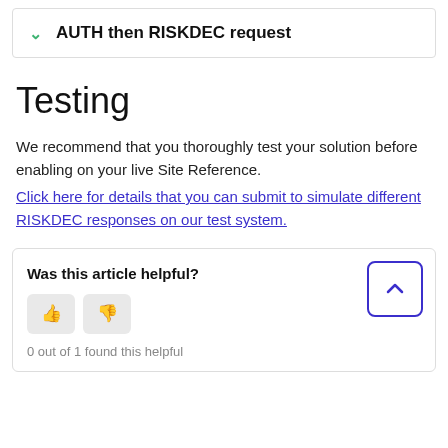AUTH then RISKDEC request
Testing
We recommend that you thoroughly test your solution before enabling on your live Site Reference. Click here for details that you can submit to simulate different RISKDEC responses on our test system.
Was this article helpful?
0 out of 1 found this helpful